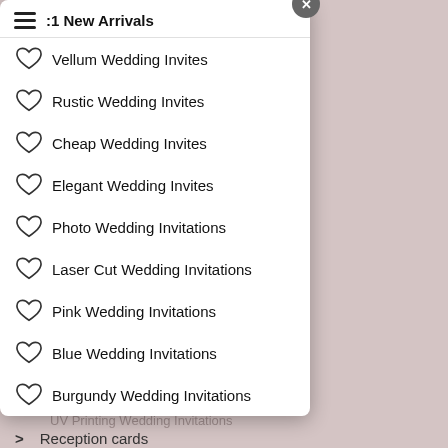[Figure (screenshot): Website navigation modal/dropdown showing wedding invitation categories with heart icons, overlaid on a pinkish-beige page background with faded text links]
Vellum Wedding Invites
Rustic Wedding Invites
Cheap Wedding Invites
Elegant Wedding Invites
Photo Wedding Invitations
Laser Cut Wedding Invitations
Pink Wedding Invitations
Blue Wedding Invitations
Burgundy Wedding Invitations
> Event change cards 30% OFF
> Direction cards
> Reception cards